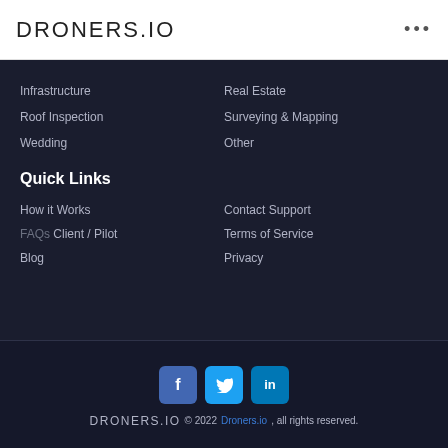DRONERS.IO
Infrastructure
Real Estate
Roof Inspection
Surveying & Mapping
Wedding
Other
Quick Links
How it Works
Contact Support
FAQs Client / Pilot
Terms of Service
Blog
Privacy
[Figure (illustration): Social media icons: Facebook (blue square), Twitter (light blue square), LinkedIn (teal square)]
DRONERS.IO © 2022 Droners.io, all rights reserved.